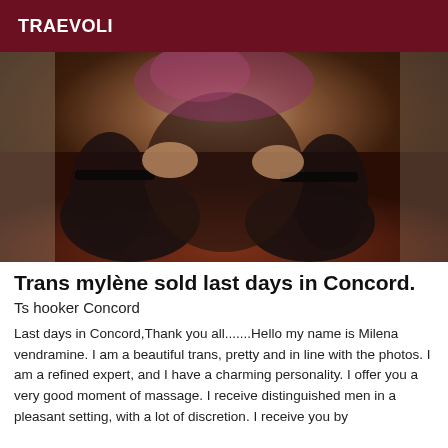TRAEVOLI
[Figure (photo): A person kneeling on a red carpet wearing black stockings and a pink/purple dress, viewed from the torso down.]
Trans mylène sold last days in Concord.
Ts hooker Concord
Last days in Concord,Thank you all.......Hello my name is Milena vendramine. I am a beautiful trans, pretty and in line with the photos. I am a refined expert, and I have a charming personality. I offer you a very good moment of massage. I receive distinguished men in a pleasant setting, with a lot of discretion. I receive you by